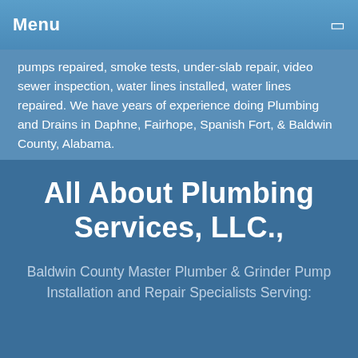Menu
pumps repaired, smoke tests, under-slab repair, video sewer inspection, water lines installed, water lines repaired. We have years of experience doing Plumbing and Drains in Daphne, Fairhope, Spanish Fort, & Baldwin County, Alabama.
All About Plumbing Services, LLC.,
Baldwin County Master Plumber & Grinder Pump Installation and Repair Specialists Serving: